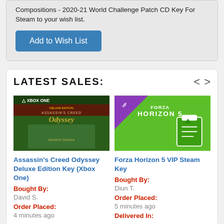...Compositions - 2020-21 World Challenge Patch CD Key For Steam to your wish list.
Add to Wish List
LATEST SALES:
[Figure (photo): Assassin's Creed Odyssey Deluxe Edition Key (Xbox One) game cover art]
Assassin's Creed Odyssey Deluxe Edition Key (Xbox One)
Bought By:
David S.
Order Placed:
4 minutes ago
[Figure (photo): Forza Horizon 5 VIP Steam Key product image on green background]
Forza Horizon 5 VIP Steam Key
Bought By:
Diun T.
Order Placed:
5 minutes ago
Delivered In: